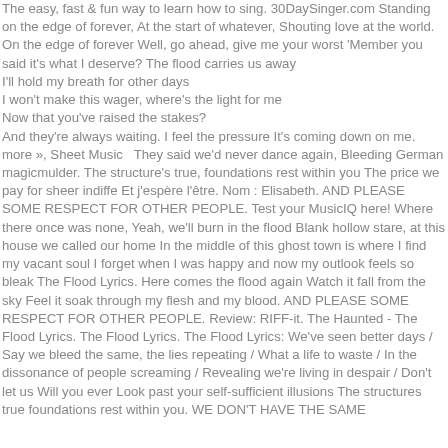The easy, fast & fun way to learn how to sing. 30DaySinger.com Standing on the edge of forever, At the start of whatever, Shouting love at the world. On the edge of forever Well, go ahead, give me your worst 'Member you said it's what I deserve? The flood carries us away I'll hold my breath for other days I won't make this wager, where's the light for me Now that you've raised the stakes? And they're always waiting. I feel the pressure It's coming down on me. more », Sheet Music  They said we'd never dance again, Bleeding German magicmulder. The structure's true, foundations rest within you The price we pay for sheer indiffe Et j'espère l'être. Nom : Elisabeth. AND PLEASE SOME RESPECT FOR OTHER PEOPLE. Test your MusicIQ here! Where there once was none, Yeah, we'll burn in the flood Blank hollow stare, at this house we called our home In the middle of this ghost town is where I find my vacant soul I forget when I was happy and now my outlook feels so bleak The Flood Lyrics. Here comes the flood again Watch it fall from the sky Feel it soak through my flesh and my blood. AND PLEASE SOME RESPECT FOR OTHER PEOPLE. Review: RIFF-it. The Haunted - The Flood Lyrics. The Flood Lyrics. The Flood Lyrics: We've seen better days / Say we bleed the same, the lies repeating / What a life to waste / In the dissonance of people screaming / Revealing we're living in despair / Don't let us Will you ever Look past your self-sufficient illusions The structures true foundations rest within you. WE DON'T HAVE THE SAME